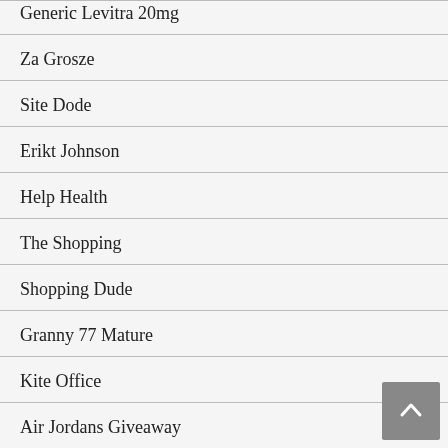Generic Levitra 20mg
Za Grosze
Site Dode
Erikt Johnson
Help Health
The Shopping
Shopping Dude
Granny 77 Mature
Kite Office
Air Jordans Giveaway